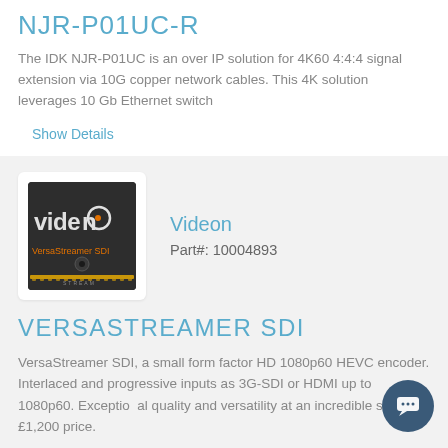NJR-P01UC-R
The IDK NJR-P01UC is an over IP solution for 4K60 4:4:4 signal extension via 10G copper network cables. This 4K solution leverages 10 Gb Ethernet switch
Show Details
[Figure (logo): Videon VersaStreamer SDI product image - dark board with 'videon' branding and 'VersaStreamer SDI' text]
Videon
Part#: 10004893
VERSASTREAMER SDI
VersaStreamer SDI, a small form factor HD 1080p60 HEVC encoder. Interlaced and progressive inputs as 3G-SDI or HDMI up to 1080p60. Exceptional quality and versatility at an incredible sub £1,200 price.